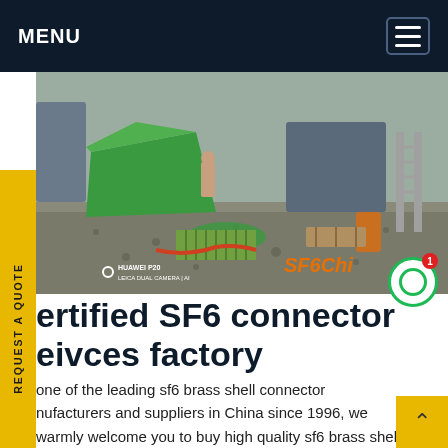MENU
[Figure (photo): Outdoor industrial/construction site with green tarpaulins, gravel ground, workers, machinery and equipment. HUAWEI P20 LEICA DUAL CAMERA | AI watermark visible. SF6China branding in orange.]
Certified SF6 connector seivces factory
one of the leading sf6 brass shell connector manufacturers and suppliers in China since 1996, we warmly welcome you to buy high quality sf6 brass shell connector at competitive price from our factory. For more company information, contact us